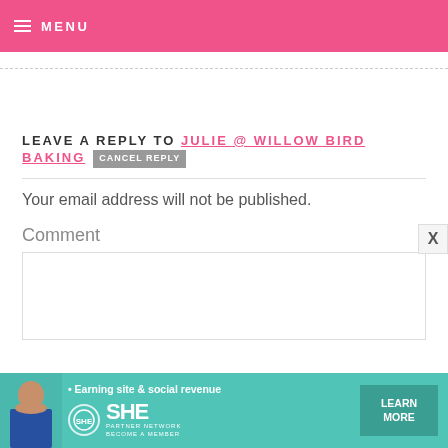☰ MENU
LEAVE A REPLY TO JULIE @ WILLOW BIRD BAKING  CANCEL REPLY
Your email address will not be published.
Comment
[Figure (infographic): Advertisement banner for SHE Media Partner Network with text: Earning site & social revenue, SHE PARTNER NETWORK, BECOME A MEMBER, LEARN MORE button]